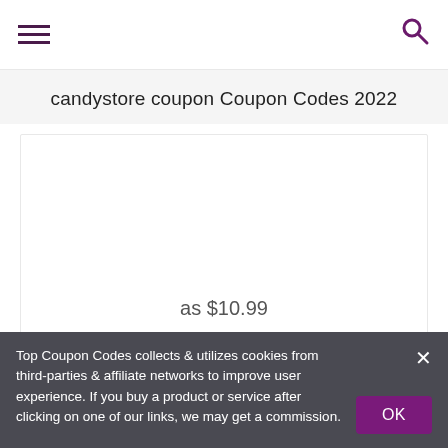≡  🔍
candystore coupon Coupon Codes 2022
[Figure (other): White content card with 5 empty star rating icons at the bottom]
as $10.99
Top Coupon Codes collects & utilizes cookies from third-parties & affiliate networks to improve user experience. If you buy a product or service after clicking on one of our links, we may get a commission.